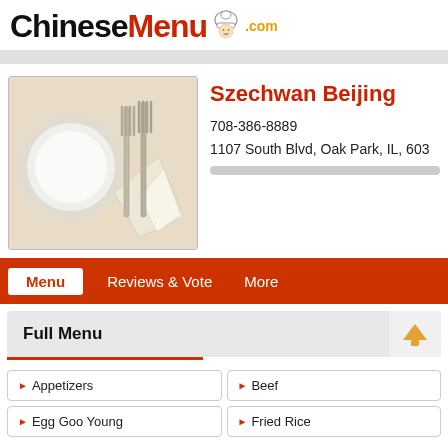ChineseMenu.com
Szechwan Beijing
708-386-8889
1107 South Blvd, Oak Park, IL, 603
Menu | Reviews & Vote | More
Full Menu
Appetizers
Beef
Egg Goo Young
Fried Rice